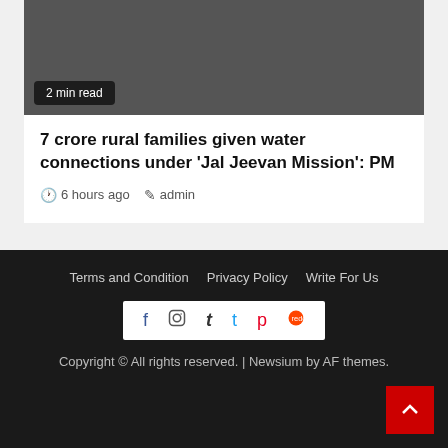[Figure (photo): Dark gray article thumbnail image with '2 min read' badge overlay]
7 crore rural families given water connections under ‘Jal Jeevan Mission’: PM
6 hours ago  admin
Terms and Condition  Privacy Policy  Write For Us
Copyright © All rights reserved. | Newsium by AF themes.